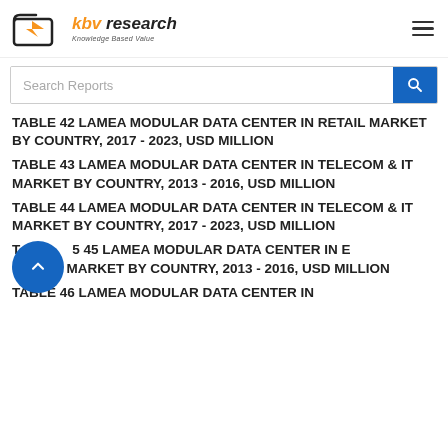KBV Research - Knowledge Based Value
TABLE 42 LAMEA MODULAR DATA CENTER IN RETAIL MARKET BY COUNTRY, 2017 - 2023, USD MILLION
TABLE 43 LAMEA MODULAR DATA CENTER IN TELECOM & IT MARKET BY COUNTRY, 2013 - 2016, USD MILLION
TABLE 44 LAMEA MODULAR DATA CENTER IN TELECOM & IT MARKET BY COUNTRY, 2017 - 2023, USD MILLION
TABLE 45 LAMEA MODULAR DATA CENTER IN EDUCATION MARKET BY COUNTRY, 2013 - 2016, USD MILLION
TABLE 46 LAMEA MODULAR DATA CENTER IN